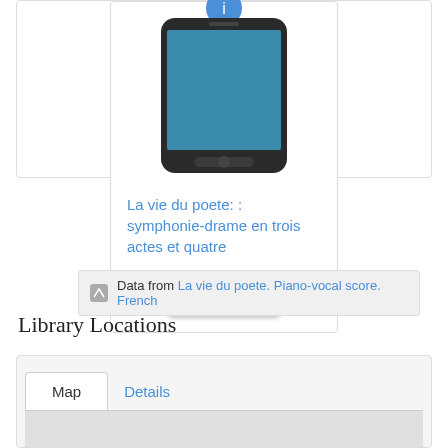[Figure (screenshot): Screenshot of a library app showing a smartphone with a blue screen, displaying a book entry for 'La vie du poete' with a Borrow it button]
La vie du poete: : symphonie-drame en trois actes et quatre
Borrow it
Data from La vie du poete. Piano-vocal score. French
Library Locations
Map
Details